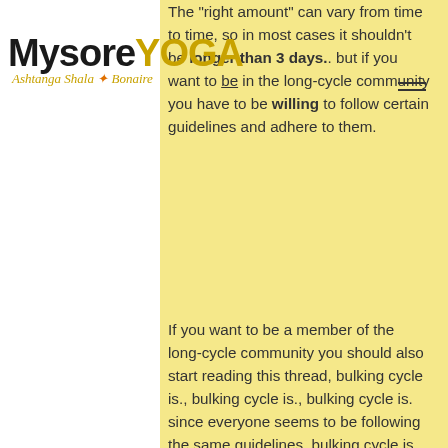[Figure (logo): Mysore YOGA Ashtanga Shala Bonaire logo with hamburger menu icon]
The "right amount" can vary from time to time, so in most cases it shouldn't be longer than 3 days.. but if you want to be in the long-cycle community you have to be willing to follow certain guidelines and adhere to them.
If you want to be a member of the long-cycle community you should also start reading this thread, bulking cycle is., bulking cycle is., bulking cycle is. since everyone seems to be following the same guidelines, bulking cycle is.
For example:- I had my doubts about a long cycle. I kept reading, lean bulking steroids. I started looking at long cycles, and I found out many users use this method.- I found out the long cycle doesn't work.- I found out there are long cycles that work with the right amount and length.What I was told is that the "correct" long cycle should work with